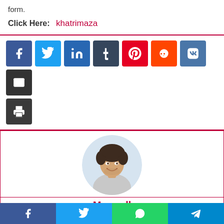form.
Click Here: khatrimaza
[Figure (infographic): Social share buttons: Facebook, Twitter, LinkedIn, Tumblr, Pinterest, Reddit, VK, Email, Print]
[Figure (photo): Author photo of Maxwell - a smiling man with curly hair]
Maxwell
[Figure (infographic): Bottom share bar with Facebook, Twitter, WhatsApp, Telegram icons]